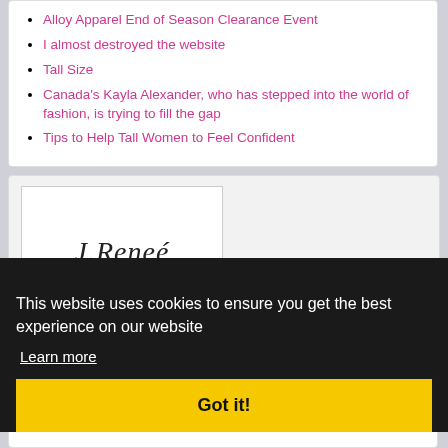Alloy Apparel End of Season Clearance Event
I almost destroyed the website
Tall Size
Canada's Kayla Alexander, who has stepped into the world of fashion, is trying to fill the gap
Tips to Help Tall Women to Feel Confident
[Figure (logo): J.Reneé brand logo in italic serif font inside a white bordered box]
Most Read Content
Focus: Tall women's clothes; Women's shoes in large sizes
Women's shoes in large sizes
Clothes for Tall Women
This website uses cookies to ensure you get the best experience on our website
Learn more
Got it!